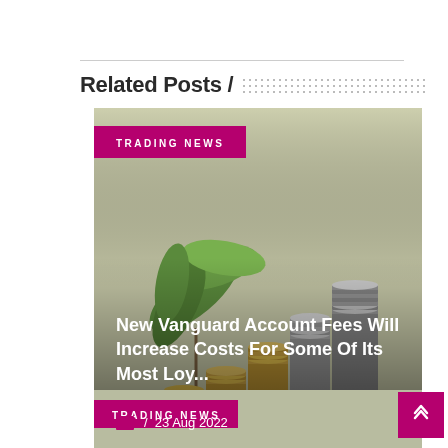Related Posts /
[Figure (photo): Blog card showing stacked coins and a plant on a beige background, tagged TRADING NEWS, with headline 'New Vanguard Account Fees Will Increase Costs For Some Of Its Most Loy...' dated 23 Aug 2022]
[Figure (photo): Second blog card partially visible at bottom, tagged TRADING NEWS]